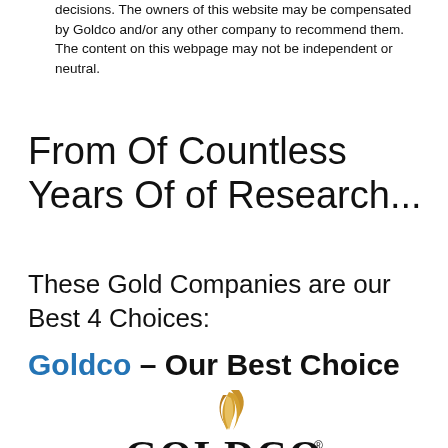decisions. The owners of this website may be compensated by Goldco and/or any other company to recommend them. The content on this webpage may not be independent or neutral.
From Of Countless Years Of of Research...
These Gold Companies are our Best 4 Choices:
Goldco – Our Best Choice
[Figure (logo): Goldco logo with golden flame/swoosh above the text GOLDCO in large serif font with a registered trademark symbol]